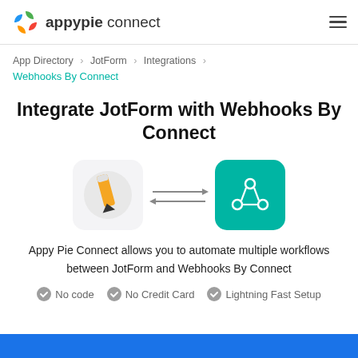appypie connect
App Directory > JotForm > Integrations > Webhooks By Connect
Integrate JotForm with Webhooks By Connect
[Figure (illustration): Two app icons (JotForm pencil icon and Webhooks By Connect teal icon) with bidirectional arrows between them indicating integration]
Appy Pie Connect allows you to automate multiple workflows between JotForm and Webhooks By Connect
No code   No Credit Card   Lightning Fast Setup